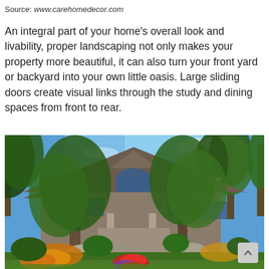Source: www.carehomedecor.com
An integral part of your home's overall look and livability, proper landscaping not only makes your property more beautiful, it can also turn your front yard or backyard into your own little oasis. Large sliding doors create visual links through the study and dining spaces from front to rear.
[Figure (photo): A large house with craftsman-style architecture surrounded by lush landscaping including colorful flowers, large rocks, stone steps, and tall trees with a blue sky visible in the background.]